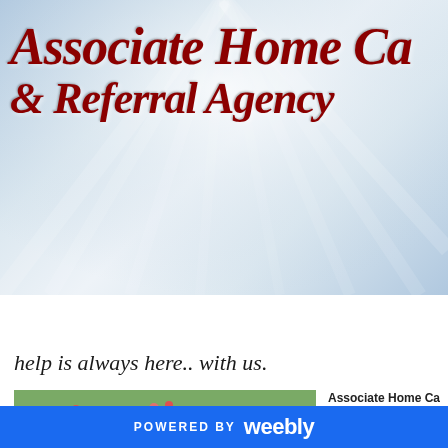[Figure (logo): Associate Home Care & Referral Agency logo with red italic cursive text on blue-grey gradient banner background with light rays]
Home | Services | Why Associate Home Care? | Caregivers | Contact
help is always here.. with us.
[Figure (photo): Elderly woman smiling and talking with a caregiver outdoors]
Associate Home Ca... home care referral a... to give the best hom... vulnerable members... Our service can ... home or at a retirem...
POWERED BY weebly